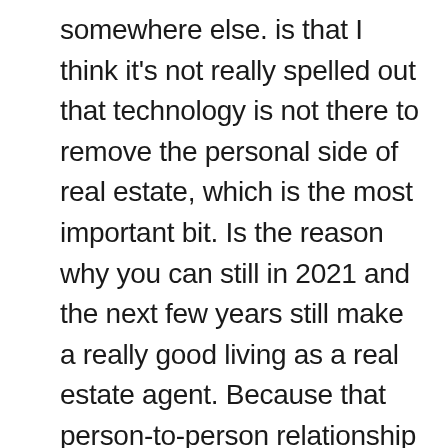somewhere else. is that I think it's not really spelled out that technology is not there to remove the personal side of real estate, which is the most important bit. Is the reason why you can still in 2021 and the next few years still make a really good living as a real estate agent. Because that person-to-person relationship is still so important in this industry. A lot of people in our area for understandable reasons, don't really spell out that the tech, well, some have a different message. Like they want to remove the personal element, from the whole industry.